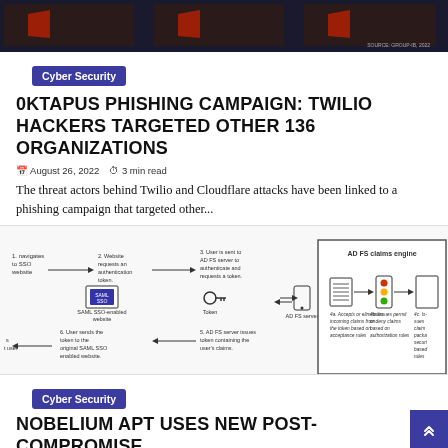[Figure (screenshot): Dark banner image with three thumbnail images side by side, source credit at bottom right reading 'SOURCE: GROUP-IB, 2022']
Cyber Security
0KTAPUS PHISHING CAMPAIGN: TWILIO HACKERS TARGETED OTHER 136 ORGANIZATIONS
August 26, 2022   3 min read
The threat actors behind Twilio and Cloudflare attacks have been linked to a phishing campaign that targeted other...
[Figure (flowchart): SAML SSO authentication flow diagram showing steps: 1. navigates to SSO website, 2. Website requests an authentication token, 3. User is sent to AD FS server to authenticate and requests a token, 4a. Accepts or eliminates incoming claims from the token based on acceptance rules, 4b. Issues permit or deny claims based on authorization rules, 4c. Issues claims package security based rules. Also shows SAML SSO-enabled website, Token, AD FS server icons.]
Cyber Security
NOBELIUM APT USES NEW POST-COMPROMISE